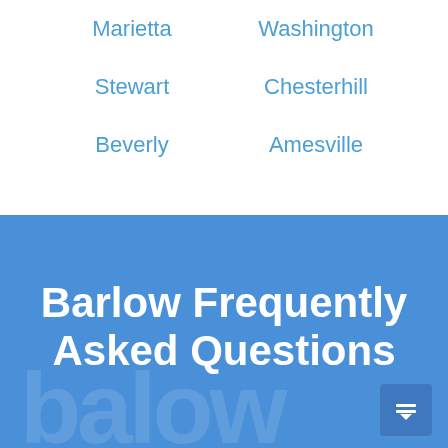Marietta
Washington
Stewart
Chesterhill
Beverly
Amesville
Barlow Frequently Asked Questions